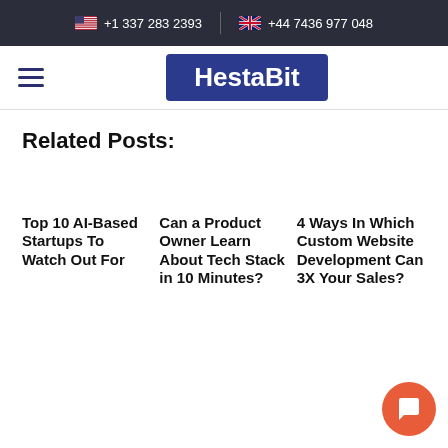🇺🇸 +1 337 283 2393   🇬🇧 +44 7436 977 048
[Figure (logo): HestaBit logo — white bold text on dark blue/navy rectangle, with hamburger menu icon to the left]
Related Posts:
Top 10 AI-Based Startups To Watch Out For
Can a Product Owner Learn About Tech Stack in 10 Minutes?
4 Ways In Which Custom Website Development Can 3X Your Sales?